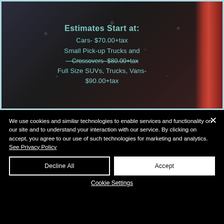[Figure (photo): Car wash image showing a dark vehicle being washed with water droplets visible and a red/pink wash brush on the right side. Text overlay in teal/cyan color reads pricing estimates starting at various amounts for different vehicle types.]
Estimates Start at:
Cars- $70.00+tax
Small Pick-up Trucks and Crossovers- $80.00+tax
Full Size SUVs, Trucks, Vans- $90.00+tax
We use cookies and similar technologies to enable services and functionality on our site and to understand your interaction with our service. By clicking on accept, you agree to our use of such technologies for marketing and analytics. See Privacy Policy
Decline All
Accept
Cookie Settings